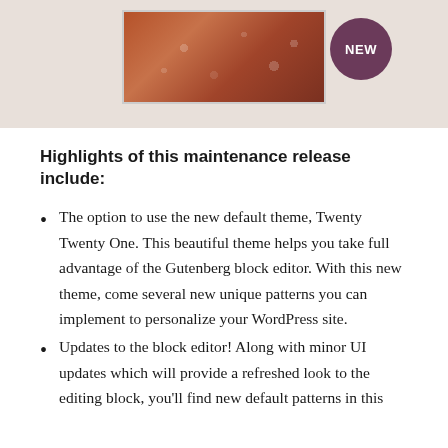[Figure (photo): Banner image with a reddish-brown patterned photo in center on a beige/taupe background, with a dark purple circular badge labeled 'NEW' in the upper right area]
Highlights of this maintenance release include:
The option to use the new default theme, Twenty Twenty One. This beautiful theme helps you take full advantage of the Gutenberg block editor. With this new theme, come several new unique patterns you can implement to personalize your WordPress site.
Updates to the block editor! Along with minor UI updates which will provide a refreshed look to the editing block, you'll find new default patterns in this